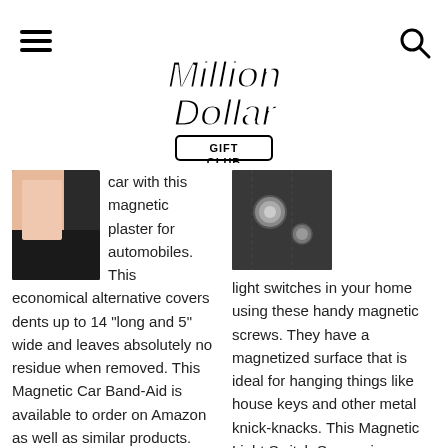Million Dollar Gift Club
[Figure (photo): Close-up photo of a pinkish/beige magnetic plaster on a dark surface, representing a car dent cover product]
car with this magnetic plaster for automobiles. This economical alternative covers dents up to 14 “long and 5” wide and leaves absolutely no residue when removed. This Magnetic Car Band-Aid is available to order on Amazon as well as similar products. Million Dollar Gift Club
[Figure (photo): Close-up photo of a dark surface with magnetic screws/buttons, representing magnetic light switch screws product]
light switches in your home using these handy magnetic screws. They have a magnetized surface that is ideal for hanging things like house keys and other metal knick-knacks. This Magnetic Light Switch Screws is available to order on Amazon as well as similar products. Million